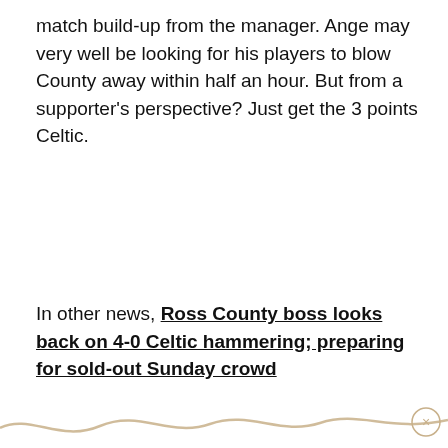match build-up from the manager. Ange may very well be looking for his players to blow County away within half an hour. But from a supporter's perspective? Just get the 3 points Celtic.
In other news, Ross County boss looks back on 4-0 Celtic hammering; preparing for sold-out Sunday crowd
[Figure (illustration): Decorative wavy gold/tan line near the bottom of the page with a small circular close button (×) on the right side]